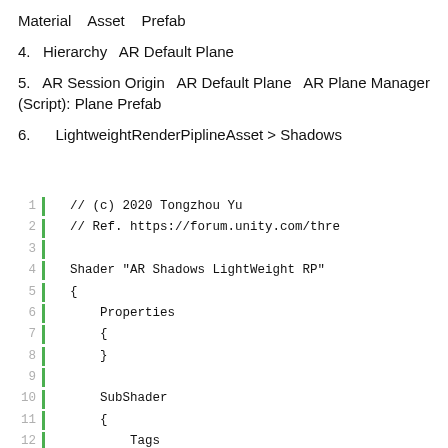Material   Asset   Prefab
4.  Hierarchy  AR Default Plane
5.  AR Session Origin  AR Default Plane  AR Plane Manager (Script): Plane Prefab
6.   LightweightRenderPiplineAsset > Shadows
[Figure (screenshot): Code editor screenshot showing lines 1-18 of a shader file. Line 1: // (c) 2020 Tongzhou Yu, Line 2: // Ref. https://forum.unity.com/thre, Line 3: (blank), Line 4: Shader "AR Shadows LightWeight RP", Line 5: {, Line 6:     Properties, Line 7:     {, Line 8:     }, Line 9: (blank), Line 10:     SubShader, Line 11:     {, Line 12:         Tags, Line 13:         {, Line 14:             "RenderType" = "Transpar, Line 15:             "RenderPipeline" = "Uni\, Line 16:             "IgnoreProjector" = "Tru, Line 17:         }, Line 18:         LOD 300]